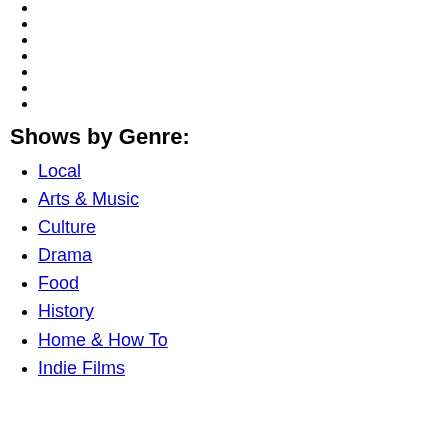Shows by Genre:
Local
Arts & Music
Culture
Drama
Food
History
Home & How To
Indie Films